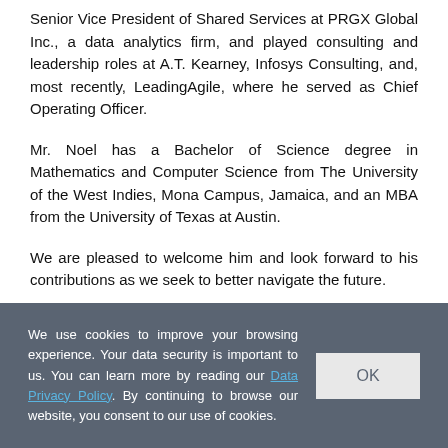Senior Vice President of Shared Services at PRGX Global Inc., a data analytics firm, and played consulting and leadership roles at A.T. Kearney, Infosys Consulting, and, most recently, LeadingAgile, where he served as Chief Operating Officer.
Mr. Noel has a Bachelor of Science degree in Mathematics and Computer Science from The University of the West Indies, Mona Campus, Jamaica, and an MBA from the University of Texas at Austin.
We are pleased to welcome him and look forward to his contributions as we seek to better navigate the future.
October 18, 2021
We use cookies to improve your browsing experience. Your data security is important to us. You can learn more by reading our Data Privacy Policy. By continuing to browse our website, you consent to our use of cookies.